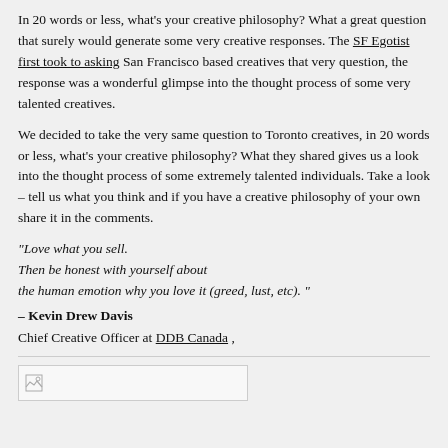In 20 words or less, what's your creative philosophy? What a great question that surely would generate some very creative responses. The SF Egotist first took to asking San Francisco based creatives that very question, the response was a wonderful glimpse into the thought process of some very talented creatives.
We decided to take the very same question to Toronto creatives, in 20 words or less, what's your creative philosophy? What they shared gives us a look into the thought process of some extremely talented individuals. Take a look – tell us what you think and if you have a creative philosophy of your own share it in the comments.
"Love what you sell. Then be honest with yourself about the human emotion why you love it (greed, lust, etc). " – Kevin Drew Davis Chief Creative Officer at DDB Canada ,
[Figure (photo): Small broken image placeholder icon inside a rectangular image box]